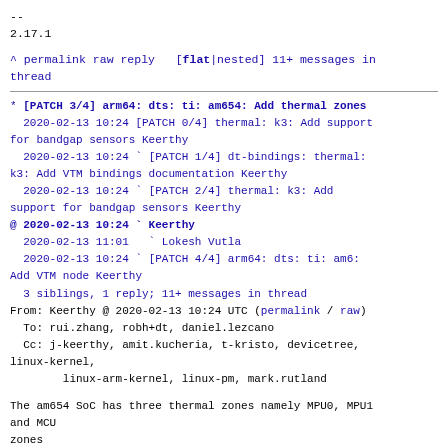--
2.17.1
^ permalink raw reply   [flat|nested] 11+ messages in thread
* [PATCH 3/4] arm64: dts: ti: am654: Add thermal zones
  2020-02-13 10:24 [PATCH 0/4] thermal: k3: Add support for bandgap sensors Keerthy
  2020-02-13 10:24 ` [PATCH 1/4] dt-bindings: thermal: k3: Add VTM bindings documentation Keerthy
  2020-02-13 10:24 ` [PATCH 2/4] thermal: k3: Add support for bandgap sensors Keerthy
@ 2020-02-13 10:24 ` Keerthy
  2020-02-13 11:01   ` Lokesh Vutla
  2020-02-13 10:24 ` [PATCH 4/4] arm64: dts: ti: am6: Add VTM node Keerthy
  3 siblings, 1 reply; 11+ messages in thread
From: Keerthy @ 2020-02-13 10:24 UTC (permalink / raw)
  To: rui.zhang, robh+dt, daniel.lezcano
  Cc: j-keerthy, amit.kucheria, t-kristo, devicetree, linux-kernel,
        linux-arm-kernel, linux-pm, mark.rutland
The am654 SoC has three thermal zones namely MPU0, MPU1 and MCU
zones
Signed-off-by: Keerthy <j-keerthy@ti.com>